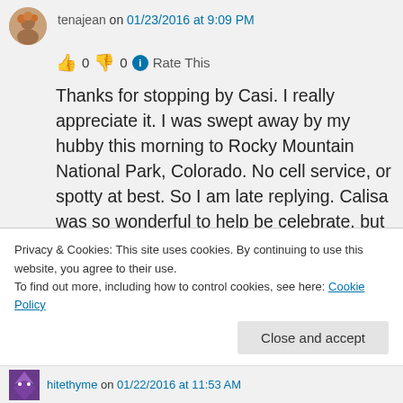tenajean on 01/23/2016 at 9:09 PM
👍 0 👎 0 ℹ Rate This
Thanks for stopping by Casi. I really appreciate it. I was swept away by my hubby this morning to Rocky Mountain National Park, Colorado. No cell service, or spotty at best. So I am late replying. Calisa was so wonderful to help be celebrate, but she had no warning, I'd disappear, sorry about that. Had a great birthday and thanks
Privacy & Cookies: This site uses cookies. By continuing to use this website, you agree to their use.
To find out more, including how to control cookies, see here: Cookie Policy
Close and accept
hitethyme on 01/22/2016 at 11:53 AM